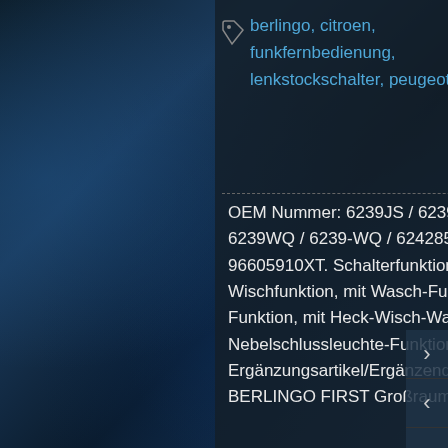berlingo, citroen, funkfernbedienung, lenkstockschalter, peugeot, valeo
OEM Nummer: 6239JS / 6239-JS / 6239Q3 / 6239-Q3 / 6239QG / 6239-QG / 6239WQ / 6239-WQ / 624285 / 6242-85 / 6242F2 / 6242-F2 / 6242QG / 6242-QG / 96605910XT. Schalterfunktion: mit Lichtumschalt-Funktion, mit Blinker-Funktion, mit Wischfunktion, mit Wasch-Funktion, mit Wischintervall-Funktion, mit Wisch-Wasch-Funktion, mit Heck-Wisch-Wasch-Funktion, mit Heckwisch-Funktion, mit Nebelschlussleuchte-Funktion, ohne Boardcomputer-Funktion. Gewicht[kg]: 0.79 kg. Ergänzungsartikel/Ergänzende Info: mit Airbag-Wickelfeder. BERLINGO / BERLINGO FIRST Großraumlimousine (MF, GJK, GFK). Baujahr ab: